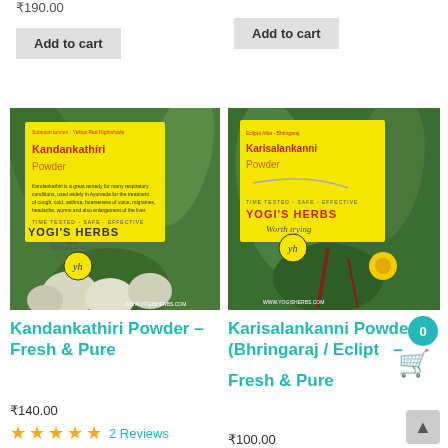₹190.00
Add to cart (left button)
Add to cart (right button)
[Figure (photo): Kandankathiri Powder product image with yellow label, Yogi's Herbs branding, green vegetables and white berries in background]
[Figure (photo): Karisalankanni Powder product image with yellow label, Yogi's Herbs branding, green plants and yellow flower in background]
Kandankathiri Powder – Fresh & Pure
Karisalankanni Powder (Bhringaraj / Eclipta) – Fresh & Pure
₹140.00
2 Reviews
₹100.00